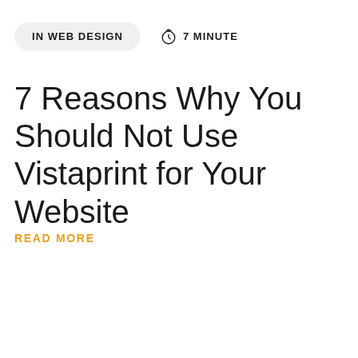IN WEB DESIGN   7 MINUTE
7 Reasons Why You Should Not Use Vistaprint for Your Website
READ MORE